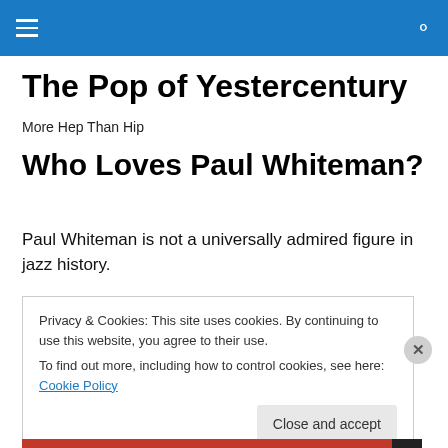The Pop of Yestercentury
The Pop of Yestercentury
More Hep Than Hip
Who Loves Paul Whiteman?
Paul Whiteman is not a universally admired figure in jazz history.
Privacy & Cookies: This site uses cookies. By continuing to use this website, you agree to their use.
To find out more, including how to control cookies, see here: Cookie Policy
Close and accept